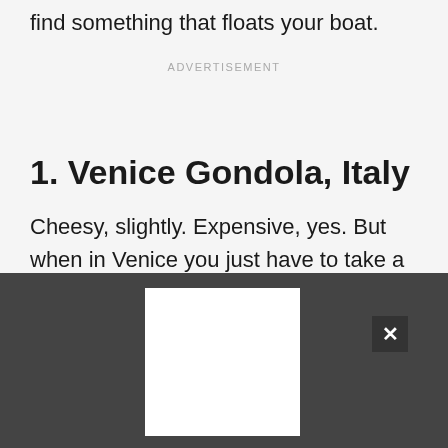find something that floats your boat.
ADVERTISEMENT
1. Venice Gondola, Italy
Cheesy, slightly. Expensive, yes. But when in Venice you just have to take a gondola ride. Use the water-bus vaporetto for practical transportation and the